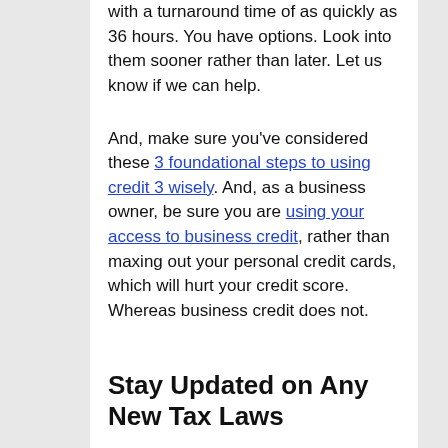with a turnaround time of as quickly as 36 hours. You have options. Look into them sooner rather than later. Let us know if we can help.
And, make sure you've considered these 3 foundational steps to using credit 3 wisely. And, as a business owner, be sure you are using your access to business credit, rather than maxing out your personal credit cards, which will hurt your credit score. Whereas business credit does not.
Stay Updated on Any New Tax Laws